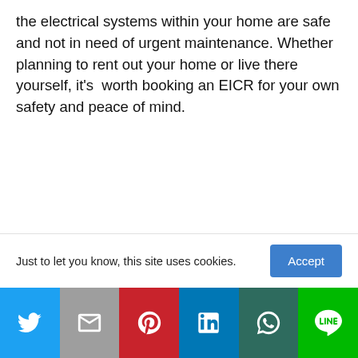the electrical systems within your home are safe and not in need of urgent maintenance. Whether planning to rent out your home or live there yourself, it's  worth booking an EICR for your own safety and peace of mind.
It's always better to be safe than sorry – an EICR will allow you to identify any problems within your home's electrical installations and have them fixed before they get any worse.
Just to let you know, this site uses cookies.
Twitter | Email | Pinterest | LinkedIn | WhatsApp | Line